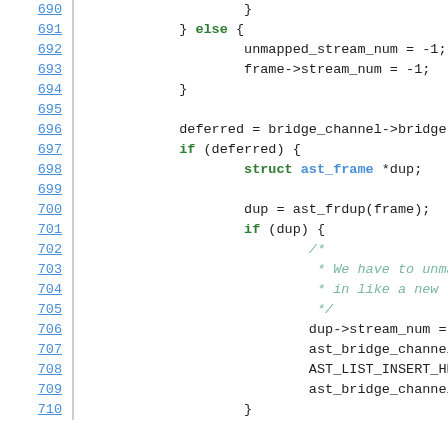Source code listing, lines 690-710, C code with line numbers and syntax highlighting